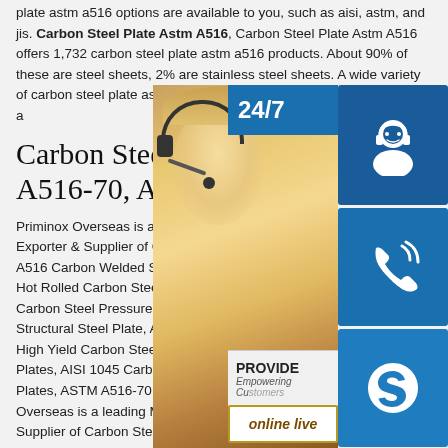plate astm a516 options are available to you, such as aisi, astm, and jis. Carbon Steel Plate Astm A516, Carbon Steel Plate Astm A516 offers 1,732 carbon steel plate astm a516 products. About 90% of these are steel sheets, 2% are stainless steel sheets. A wide variety of carbon steel plate astm a516 are available to you, such as aisi, astm, a
Carbon Steel Plates, AST A516-70, A514, A588, HS
Priminox Overseas is a leading Manufact Exporter & Supplier of Carbon Steel Plate A516 Carbon Welded Steel Plates Plate, A Hot Rolled Carbon Steel Plates, ASME SA Carbon Steel Pressure Vessel Plates, A36 Structural Steel Plate, A572 HSLA steel Plates, A588 High Yield Carbon Steel plates, A514 T-1 Steel Plates, AISI 1045 Carbon Steel plates Carbon Steel Plates, ASTM A516-70, A514, A588, HSLA Priminox Overseas is a leading Manufacturer, Exporter & Supplier of Carbon Steel Plates, ASTM A516 Carbon Welded Steel Plates Plate, ASTM A515 Hot Rolled Carbon Steel Plates, ASME SA515 Carbon Steel
[Figure (photo): Customer service representative (woman with headset/microphone) photo overlaid with blue icon buttons for 24/7 support (headset icon), phone/call icon, and Skype icon, plus a '24/7' banner, 'PROVIDE Empowering Customers' banner, and 'online live' button]